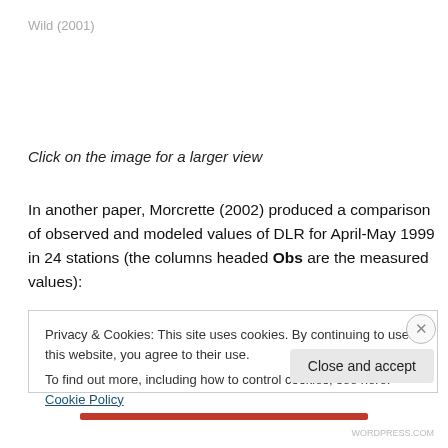Wild (2001)
Click on the image for a larger view
In another paper, Morcrette (2002) produced a comparison of observed and modeled values of DLR for April-May 1999 in 24 stations (the columns headed Obs are the measured values):
Privacy & Cookies: This site uses cookies. By continuing to use this website, you agree to their use.
To find out more, including how to control cookies, see here: Cookie Policy